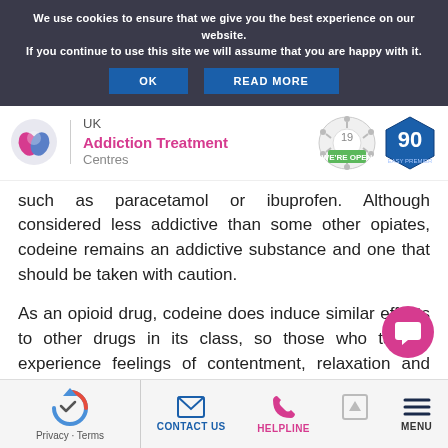We use cookies to ensure that we give you the best experience on our website. If you continue to use this site we will assume that you are happy with it. OK  READ MORE
[Figure (logo): UK Addiction Treatment Centres logo with pink/blue circular emblem and COVID-19 open badge and 90 Easy Premier badge]
such as paracetamol or ibuprofen. Although considered less addictive than some other opiates, codeine remains an addictive substance and one that should be taken with caution.
As an opioid drug, codeine does induce similar effects to other drugs in its class, so those who take it experience feelings of contentment, relaxation and wellbeing. These pleasant feelings can cause a person
Privacy · Terms   CONTACT US   HELPLINE   MENU